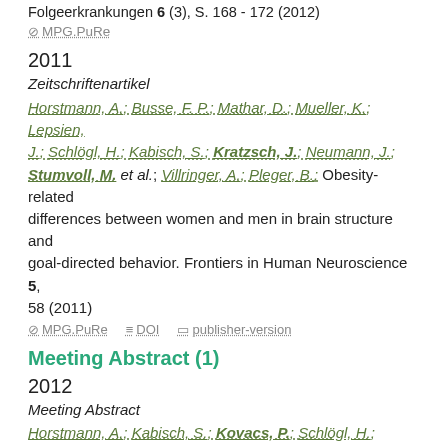Folgeerkrankungen 6 (3), S. 168 - 172 (2012)
⊘ MPG.PuRe
2011
Zeitschriftenartikel
Horstmann, A.; Busse, F. P.; Mathar, D.; Mueller, K.; Lepsien, J.; Schlögl, H.; Kabisch, S.; Kratzsch, J.; Neumann, J.; Stumvoll, M. et al.; Villringer, A.; Pleger, B.: Obesity-related differences between women and men in brain structure and goal-directed behavior. Frontiers in Human Neuroscience 5, 58 (2011)
⊘ MPG.PuRe  ≡ DOI  □ publisher-version
Meeting Abstract (1)
2012
Meeting Abstract
Horstmann, A.; Kabisch, S.; Kovacs, P.; Schlögl, H.; Toenies, A.; Boettcher, V.; Pleger, B.; Stumvoll, M.;